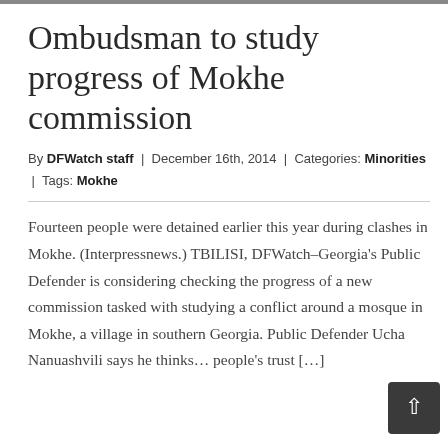Ombudsman to study progress of Mokhe commission
By DFWatch staff | December 16th, 2014 | Categories: Minorities | Tags: Mokhe
Fourteen people were detained earlier this year during clashes in Mokhe. (Interpressnews.) TBILISI, DFWatch–Georgia's Public Defender is considering checking the progress of a new commission tasked with studying a conflict around a mosque in Mokhe, a village in southern Georgia. Public Defender Ucha Nanuashvili says he thinks… people's trust […]